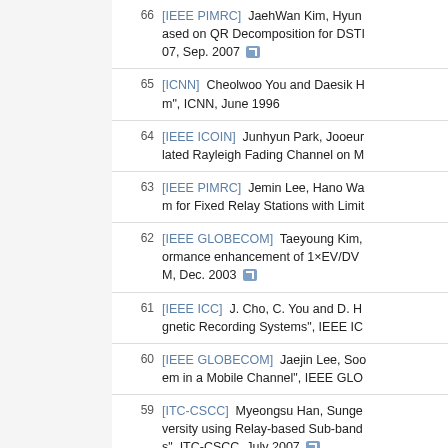66  [IEEE PIMRC]  JaehWan Kim, Hyun... ased on QR Decomposition for DSTI... 07, Sep. 2007
65  [ICNN]  Cheolwoo You and Daesik H... m", ICNN, June 1996
64  [IEEE ICOIN]  Junhyun Park, Jooeur... lated Rayleigh Fading Channel on M...
63  [IEEE PIMRC]  Jemin Lee, Hano Wa... m for Fixed Relay Stations with Limit...
62  [IEEE GLOBECOM]  Taeyoung Kim,... ormance enhancement of 1×EV/DV... M, Dec. 2003
61  [IEEE ICC]  J. Cho, C. You and D. H... gnetic Recording Systems", IEEE IC...
60  [IEEE GLOBECOM]  Jaejin Lee, Soo... em in a Mobile Channel", IEEE GLO...
59  [ITC-CSCC]  Myeongsu Han, Sunge... versity using Relay-based Sub-band... s", ITC-CSCC, July 2007
58  [IEEE GLOBECOM]  Sooyong Choi,... eural Decision Feedback Equalizer f... v. 1998